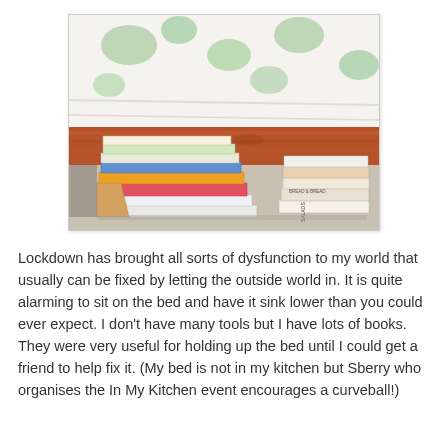[Figure (photo): A photo taken from floor level showing stacks of books propped under a bed frame made of wood (reddish-brown timber rail), with a white floral-patterned mattress or duvet visible above. Multiple books of various colours are stacked underneath to support the bed slat.]
Lockdown has brought all sorts of dysfunction to my world that usually can be fixed by letting the outside world in.  It is quite alarming to sit on the bed and have it sink lower than you could ever expect.  I don't have many tools but I have lots of books.  They were very useful for holding up the bed until I could get a friend to help fix it.  (My bed is not in my kitchen but Sberry who organises the In My Kitchen event encourages a curveball!)